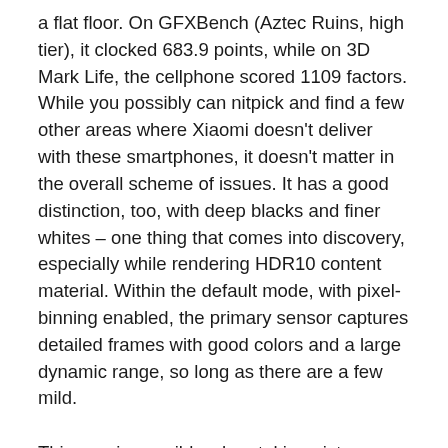a flat floor. On GFXBench (Aztec Ruins, high tier), it clocked 683.9 points, while on 3D Mark Life, the cellphone scored 1109 factors. While you possibly can nitpick and find a few other areas where Xiaomi doesn't deliver with these smartphones, it doesn't matter in the overall scheme of issues. It has a good distinction, too, with deep blacks and finer whites – one thing that comes into discovery, especially while rendering HDR10 content material. Within the default mode, with pixel-binning enabled, the primary sensor captures detailed frames with good colors and a large dynamic range, so long as there are a few mild.
This was impossible when taking pictures within the default mode; the digital camera depends on 9-to-1 pixel binning. In holding with the latest digital camera traits, the Redmi note ten pro max gives customers an excellent quad digital camera. 128GB storage model of the Redmi Note 10 Pro Max costs Rs. For many causes, the redmi note 10 pro max could be the next best thing from the stable of Xiaomi